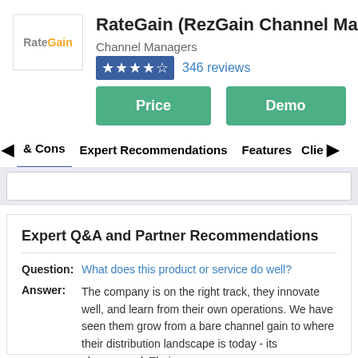[Figure (logo): RateGain logo: 'Rate' in grey, 'Gain' in orange]
RateGain (RezGain Channel Manager)
Channel Managers
4.5 stars — 346 reviews
Price
Demo
Pros & Cons  Expert Recommendations  Features  Clients
Expert Q&A and Partner Recommendations
Question:  What does this product or service do well?
Answer:  The company is on the right track, they innovate well, and learn from their own operations. We have seen them grow from a bare channel gain to where their distribution landscape is today - its phenomenal. Their